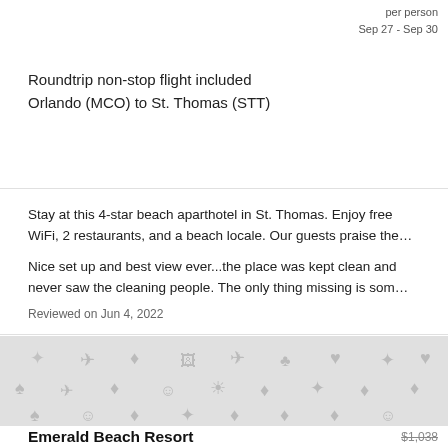per person
Sep 27 - Sep 30
Roundtrip non-stop flight included
Orlando (MCO) to St. Thomas (STT)
Stay at this 4-star beach aparthotel in St. Thomas. Enjoy free WiFi, 2 restaurants, and a beach locale. Our guests praise the…
Nice set up and best view ever...the place was kept clean and never saw the cleaning people. The only thing missing is som…
Reviewed on Jun 4, 2022
[Figure (photo): Gray placeholder image with travel-related icons pattern (hearts, stars, planes, smiley faces, etc.)]
Emerald Beach Resort
$1,038
$938